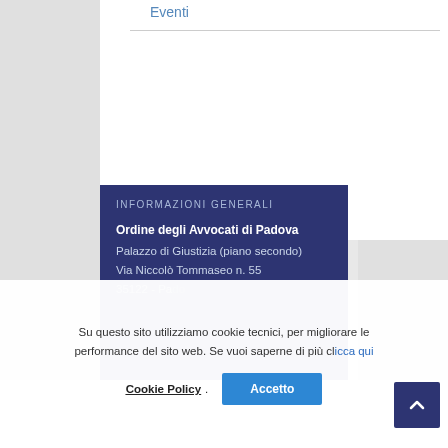Eventi
INFORMAZIONI GENERALI
Ordine degli Avvocati di Padova
Palazzo di Giustizia (piano secondo)
Via Niccolò Tommaseo n. 55
35122 - Padova
Su questo sito utilizziamo cookie tecnici, per migliorare le performance del sito web. Se vuoi saperne di più clicca qui Cookie Policy. Accetto